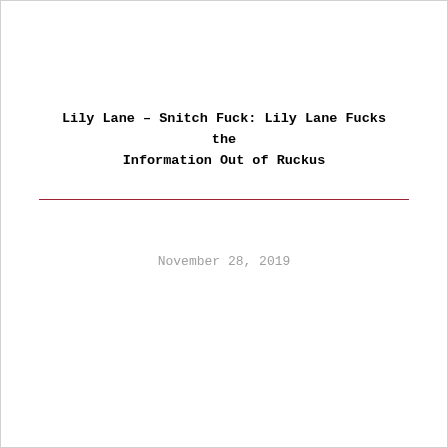Lily Lane – Snitch Fuck: Lily Lane Fucks the Information Out of Ruckus
November 28, 2019